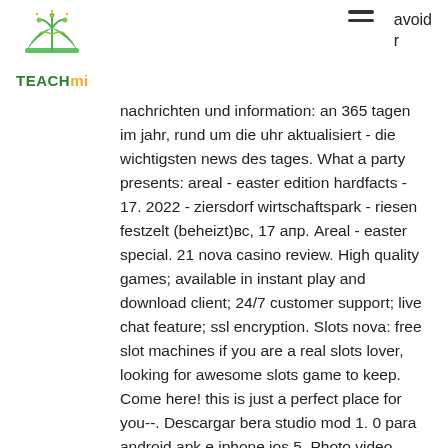TEACHmi
nachrichten und information: an 365 tagen im jahr, rund um die uhr aktualisiert - die wichtigsten news des tages. What a party presents: areal - easter edition hardfacts - 17. 2022 - ziersdorf wirtschaftspark - riesen festzelt (beheizt)вс, 17 апр. Areal - easter special. 21 nova casino review. High quality games; available in instant play and download client; 24/7 customer support; live chat feature; ssl encryption. Slots nova: free slot machines if you are a real slots lover, looking for awesome slots game to keep. Come here! this is just a perfect place for you--. Descargar bera studio mod 1. 0 para android apk e iphone ios 5. Photo video collage maker tips mod + hack. 21 nova casino is onderdeel van het grootste online casino netwerk ter wereld. Het heeft een